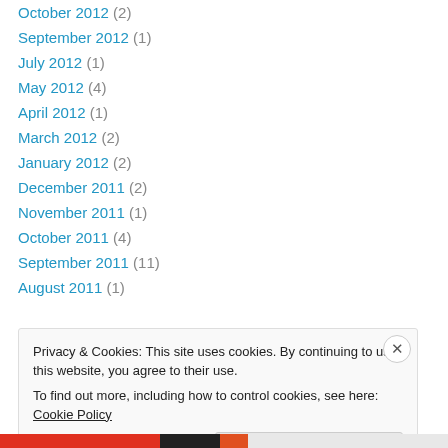October 2012 (2)
September 2012 (1)
July 2012 (1)
May 2012 (4)
April 2012 (1)
March 2012 (2)
January 2012 (2)
December 2011 (2)
November 2011 (1)
October 2011 (4)
September 2011 (11)
August 2011 (1)
Privacy & Cookies: This site uses cookies. By continuing to use this website, you agree to their use. To find out more, including how to control cookies, see here: Cookie Policy